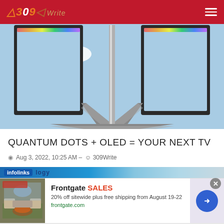309Write
[Figure (illustration): Hero image showing two large OLED/QLED TVs standing facing each other with a blue sky and white clouds background, forming a triangular shape with their stands meeting at the bottom center.]
QUANTUM DOTS + OLED = YOUR NEXT TV
Aug 3, 2022, 10:25 AM - 309Write
[Figure (screenshot): Infolinks advertisement banner with blue gradient background, showing 'infolinks' logo and partial technology category text.]
[Figure (screenshot): Frontgate SALES advertisement: '20% off sitewide plus free shipping from August 19-22' with image of outdoor furniture and a right-arrow button. URL: frontgate.com]